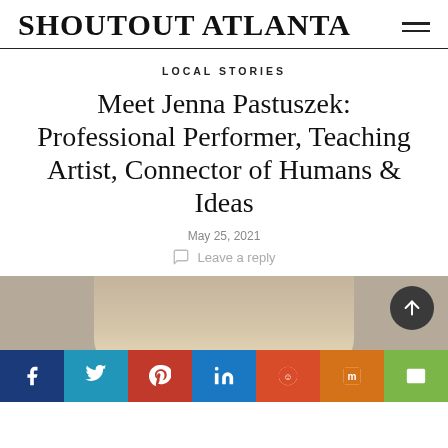SHOUTOUT ATLANTA
LOCAL STORIES
Meet Jenna Pastuszek: Professional Performer, Teaching Artist, Connector of Humans & Ideas
May 25, 2021
Leave a reply
[Figure (photo): Partial view of a blonde woman's face and hair against a brownish background, cropped at the top of the image area]
[Figure (infographic): Social media share buttons bar at the bottom: Facebook (dark blue), Twitter (teal), Pinterest (red), LinkedIn (blue), Reddit (orange-red), Mix (orange), Email (green)]